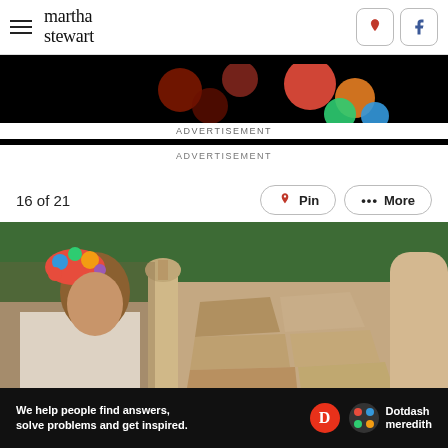martha stewart
[Figure (screenshot): Advertisement banner with colorful circles/dots on black background]
ADVERTISEMENT
16 of 21
Pin
••• More
[Figure (photo): Woman wearing colorful floral headpiece and white lace dress standing in front of ornate stone architecture with trees in background]
[Figure (screenshot): Dotdash Meredith advertisement: We help people find answers, solve problems and get inspired.]